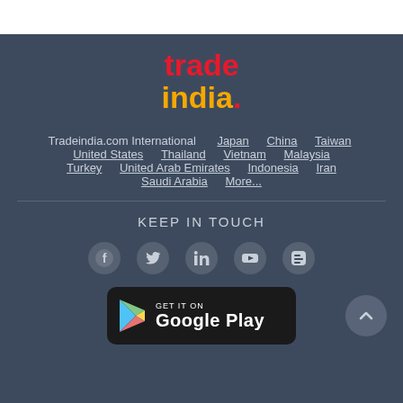[Figure (logo): tradeindia. logo with 'trade' in red and 'india.' in yellow/orange with red dot]
Tradeindia.com International  Japan  China  Taiwan  United States  Thailand  Vietnam  Malaysia  Turkey  United Arab Emirates  Indonesia  Iran  Saudi Arabia  More...
KEEP IN TOUCH
[Figure (illustration): Social media icons: Facebook, Twitter, LinkedIn, YouTube, Blogger]
[Figure (illustration): GET IT ON Google Play badge]